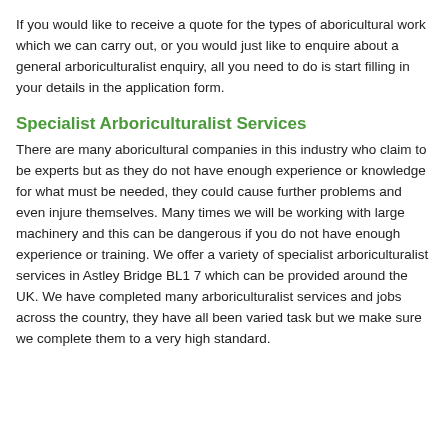aboricultural consultant to you. As our arboriculturist team work nationwide, it would not be a problem for us to come and review your facility and carry out the aboricultural work that is required.
If you would like to receive a quote for the types of aboricultural work which we can carry out, or you would just like to enquire about a general arboriculturalist enquiry, all you need to do is start filling in your details in the application form.
Specialist Arboriculturalist Services
There are many aboricultural companies in this industry who claim to be experts but as they do not have enough experience or knowledge for what must be needed, they could cause further problems and even injure themselves. Many times we will be working with large machinery and this can be dangerous if you do not have enough experience or training. We offer a variety of specialist arboriculturalist services in Astley Bridge BL1 7 which can be provided around the UK. We have completed many arboriculturalist services and jobs across the country, they have all been varied task but we make sure we complete them to a very high standard.